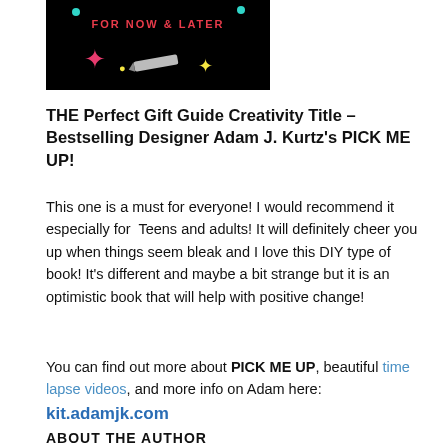[Figure (photo): Book cover image on black background with text 'FOR NOW & LATER' in red/pink, decorative stars, a pencil/pen illustration, and dots in teal and yellow]
THE Perfect Gift Guide Creativity Title – Bestselling Designer Adam J. Kurtz's PICK ME UP!
This one is a must for everyone! I would recommend it especially for Teens and adults! It will definitely cheer you up when things seem bleak and I love this DIY type of book! It's different and maybe a bit strange but it is an optimistic book that will help with positive change!
You can find out more about PICK ME UP, beautiful time lapse videos, and more info on Adam here: kit.adamjk.com
ABOUT THE AUTHOR